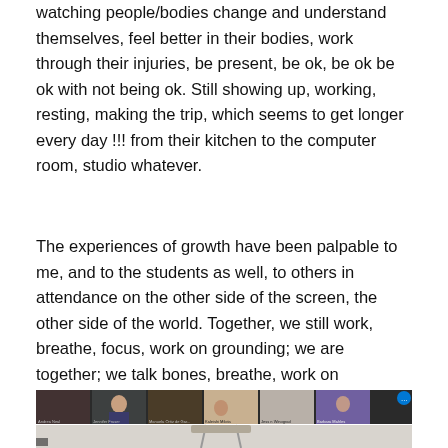watching people/bodies change and understand themselves, feel better in their bodies, work through their injuries, be present, be ok, be ok be ok with not being ok. Still showing up, working, resting, making the trip, which seems to get longer every day !!! from their kitchen to the computer room, studio whatever.
The experiences of growth have been palpable to me, and to the students as well, to others in attendance on the other side of the screen, the other side of the world. Together, we still work, breathe, focus, work on grounding; we are together; we talk bones, breathe, work on connections ; we are in community.
[Figure (screenshot): A screenshot of a Zoom video call showing multiple participant thumbnails along the top (including Andrea Neal, Jennifer Fraser, Manuela Ortiz de Gar..., Kaleishi Milota, Jess n Winograd, Barbara Mahles) and a main session view below showing what appears to be a studio or room setting.]